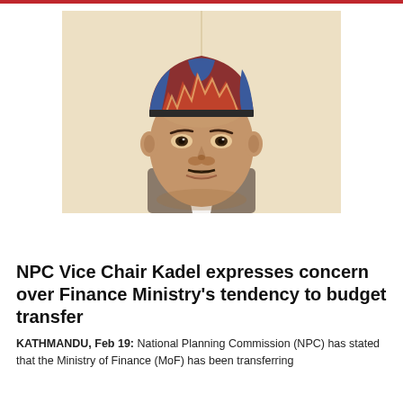[Figure (photo): Portrait photo of NPC Vice Chair Kadel wearing a traditional Nepali dhaka topi (red and blue patterned cap), showing face from forehead to chin, against a light beige/cream background.]
NPC Vice Chair Kadel expresses concern over Finance Ministry's tendency to budget transfer
KATHMANDU, Feb 19: National Planning Commission (NPC) has stated that the Ministry of Finance (MoF) has been transferring